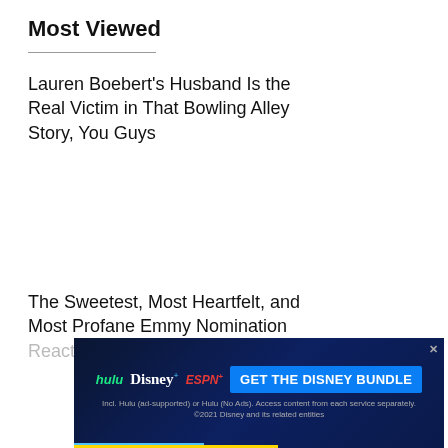Most Viewed
Lauren Boebert's Husband Is the Real Victim in That Bowling Alley Story, You Guys
The Sweetest, Most Heartfelt, and Most Profane Emmy Nomination Reactions
Chuck's Grandma Cheated on the
[Figure (infographic): Disney Bundle advertisement banner with Hulu, Disney+, and ESPN+ logos and 'GET THE DISNEY BUNDLE' call to action]